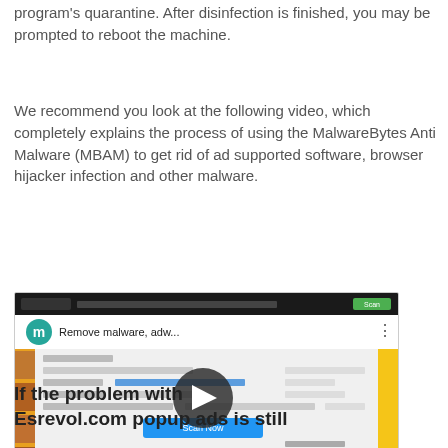program’s quarantine. After disinfection is finished, you may be prompted to reboot the machine.
We recommend you look at the following video, which completely explains the process of using the MalwareBytes Anti Malware (MBAM) to get rid of ad supported software, browser hijacker infection and other malware.
[Figure (screenshot): YouTube-style embedded video thumbnail showing MalwareBytes Anti Malware UI with a play button overlay. Header shows teal 'm' circle icon and title 'Remove malware, adw...' with three-dot menu.]
If the problem with Esrevol.com popup ads is still